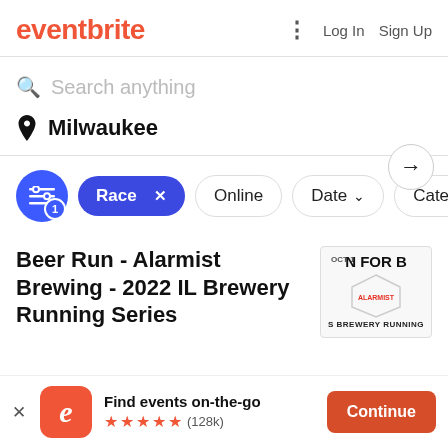eventbrite  Log In  Sign Up
Search anything
Milwaukee
Race × Online Date ∨ Category
Beer Run - Alarmist Brewing - 2022 IL Brewery Running Series
[Figure (photo): Event thumbnail showing 'RUN FOR B' text with Alarmist Brewing logo hex and 'S BREWERY RUNNING' text, OCT 1 date]
Find events on-the-go ★★★★★ (128k)  Continue